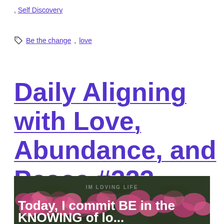, Self Discovery
Be the change, love
Daily Aligning with Love, Abundance, and Peace #323
[Figure (photo): Photo of pink flowers with dark green leaves. White bold text overlay reads: 'Today, I commit BE in the KNOWING of lo...' with a faint watermark text in the upper middle area.]